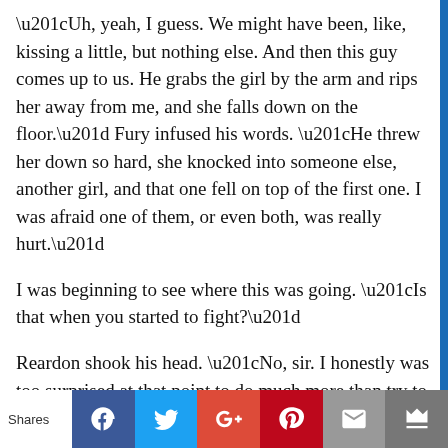“Uh, yeah, I guess. We might have been, like, kissing a little, but nothing else. And then this guy comes up to us. He grabs the girl by the arm and rips her away from me, and she falls down on the floor.” Fury infused his words. “He threw her down so hard, she knocked into someone else, another girl, and that one fell on top of the first one. I was afraid one of them, or even both, was really hurt.”
I was beginning to see where this was going. “Is that when you started to fight?”
Reardon shook his head. “No, sir. I honestly was too surprised at that point to do much more than try to help the girl. I pulled her up, and I was trying to see if she was all right, and the guy comes at us again. He starts screaming at the girl, calling her names—” He broke off. “It was clear pretty fast that they used to be together. He was saying that she was a cheating, uh, bitch, and she was yelling right back that she didn’t
Shares | Facebook | Twitter | Google+ | Pinterest | Email | Crown